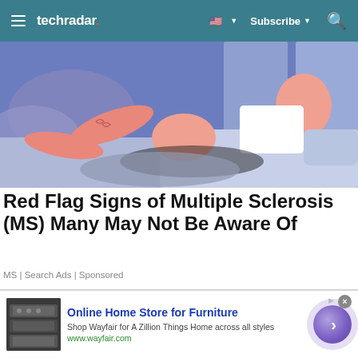techradar | Subscribe
[Figure (illustration): Illustrated scene showing reclining figures with pink skin tones on a blue-purple background, suggesting a medical/health context]
Red Flag Signs of Multiple Sclerosis (MS) Many May Not Be Aware Of
MS | Search Ads | Sponsored
[Figure (photo): Photo of a blonde woman in what appears to be a medical or studio setting with blue background]
[Figure (infographic): Advertisement: Online Home Store for Furniture - Shop Wayfair for A Zillion Things Home across all styles - www.wayfair.com]